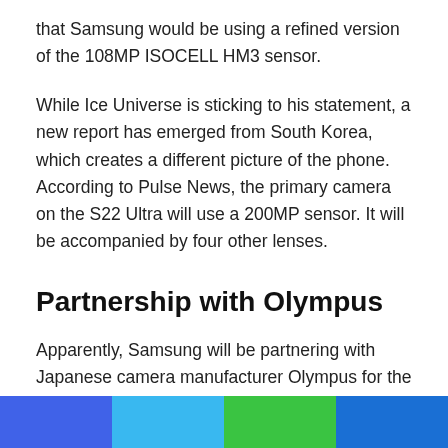that Samsung would be using a refined version of the 108MP ISOCELL HM3 sensor.
While Ice Universe is sticking to his statement, a new report has emerged from South Korea, which creates a different picture of the phone. According to Pulse News, the primary camera on the S22 Ultra will use a 200MP sensor. It will be accompanied by four other lenses.
Partnership with Olympus
Apparently, Samsung will be partnering with Japanese camera manufacturer Olympus for the camera setup. While we have seen smartphone brands team up with camera makers in the past, the results have not been that significant. As per rumors, it was Olympus that approached Samsung for the partnership.
[Figure (other): Four colored blocks at the bottom of the page: blue, light blue, green, dark blue]